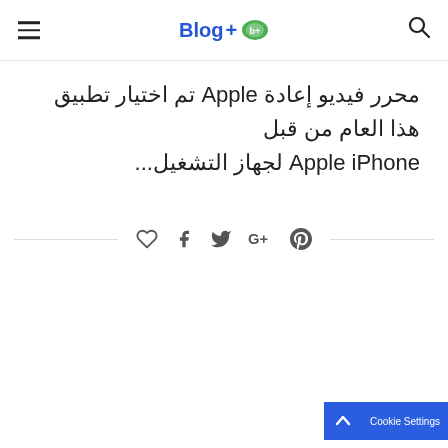Blog+ [logo with icon]
محرر فيديو إعادة Apple تم اختيار تطبيق هذا العام من قبل Apple iPhone لجهاز التشغيل...
[Figure (other): Social share icons row: heart (like), Facebook, Twitter, Google+, Pinterest, separated by horizontal lines on each side]